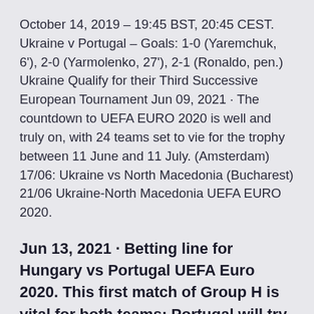October 14, 2019 – 19:45 BST, 20:45 CEST. Ukraine v Portugal – Goals: 1-0 (Yaremchuk, 6'), 2-0 (Yarmolenko, 27'), 2-1 (Ronaldo, pen.) Ukraine Qualify for their Third Successive European Tournament Jun 09, 2021 · The countdown to UEFA EURO 2020 is well and truly on, with 24 teams set to vie for the trophy between 11 June and 11 July. (Amsterdam) 17/06: Ukraine vs North Macedonia (Bucharest) 21/06 Ukraine-North Macedonia UEFA EURO 2020.
Jun 13, 2021 · Betting line for Hungary vs Portugal UEFA Euro 2020. This first match of Group H is vital for both teams; Portugal will try to secure the 3 points and go to the games against Germany and France a little